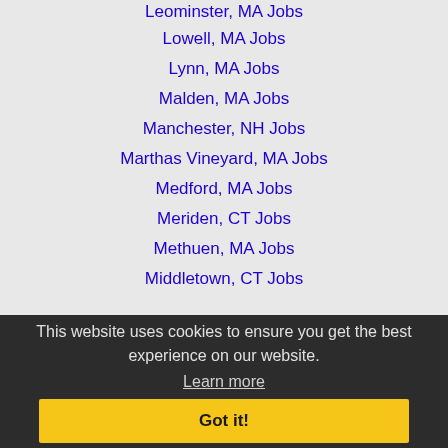Leominster, MA Jobs
Lowell, MA Jobs
Lynn, MA Jobs
Malden, MA Jobs
Manchester, NH Jobs
Marthas Vineyard, MA Jobs
Medford, MA Jobs
Meriden, CT Jobs
Methuen, MA Jobs
Middletown, CT Jobs
Milford, CT Jobs
This website uses cookies to ensure you get the best experience on our website.
Learn more
Got it!
Naugatuck, CT Jobs
New Haven, CT Jobs
Newton, MA Jobs
North Attleborough, MA Jobs
Pawtucket, RI Jobs